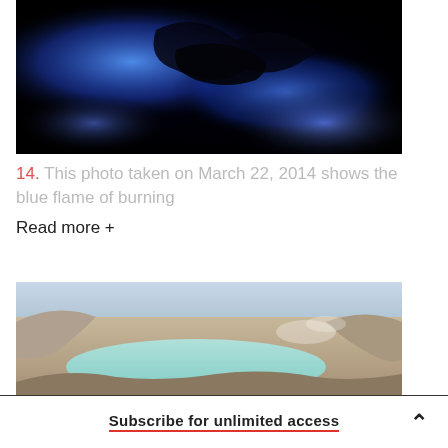[Figure (photo): Dark photo showing blue flames or bioluminescent light against black rocky background, taken at night]
14. This photo taken on March 22, 2014 shows the blue flame of burning
Read more +
[Figure (photo): Outdoor daytime photo of a volcanic crater with a light turquoise/teal colored acid lake surrounded by pale rocky terrain with steam/mist visible]
Subscribe for unlimited access